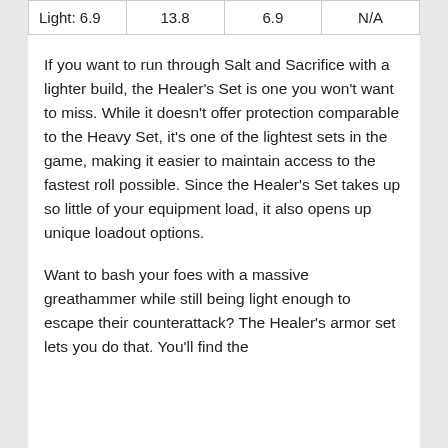| Light: 6.9 | 13.8 | 6.9 | N/A |
If you want to run through Salt and Sacrifice with a lighter build, the Healer's Set is one you won't want to miss. While it doesn't offer protection comparable to the Heavy Set, it's one of the lightest sets in the game, making it easier to maintain access to the fastest roll possible. Since the Healer's Set takes up so little of your equipment load, it also opens up unique loadout options.
Want to bash your foes with a massive greathammer while still being light enough to escape their counterattack? The Healer's armor set lets you do that. You'll find the